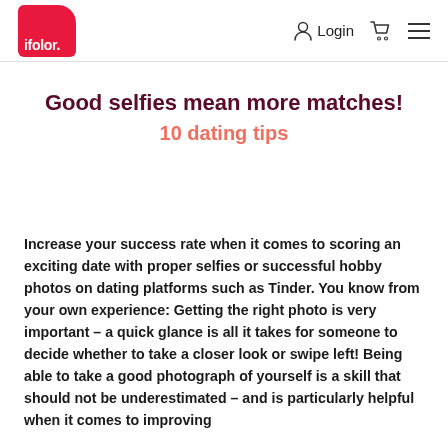ifolor. Login
Good selfies mean more matches!
10 dating tips
Increase your success rate when it comes to scoring an exciting date with proper selfies or successful hobby photos on dating platforms such as Tinder. You know from your own experience: Getting the right photo is very important – a quick glance is all it takes for someone to decide whether to take a closer look or swipe left! Being able to take a good photograph of yourself is a skill that should not be underestimated – and is particularly helpful when it comes to improving